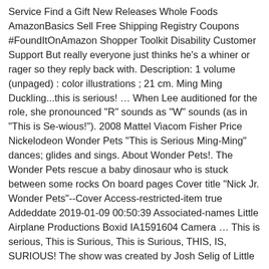Service Find a Gift New Releases Whole Foods AmazonBasics Sell Free Shipping Registry Coupons #FoundItOnAmazon Shopper Toolkit Disability Customer Support But really everyone just thinks he's a whiner or rager so they reply back with. Description: 1 volume (unpaged) : color illustrations ; 21 cm. Ming Ming Duckling...this is serious! … When Lee auditioned for the role, she pronounced "R" sounds as "W" sounds (as in "This is Se-wious!"). 2008 Mattel Viacom Fisher Price Nickelodeon Wonder Pets "This is Serious Ming-Ming" dances; glides and sings. About Wonder Pets!. The Wonder Pets rescue a baby dinosaur who is stuck between some rocks On board pages Cover title "Nick Jr. Wonder Pets"--Cover Access-restricted-item true Addeddate 2019-01-09 00:50:39 Associated-names Little Airplane Productions Boxid IA1591604 Camera … This is serious, This is Surious, This is Surious, THIS, IS, SURIOUS! The show was created by Josh Selig of Little … With Tenor, maker of GIF Keyboard, add popular This Is Serious Wonder Pets animated GIFs to your conversations. Free shipping for many products! S0. 21. Find many great new & used options and get the best deals for Wonder Pets! The